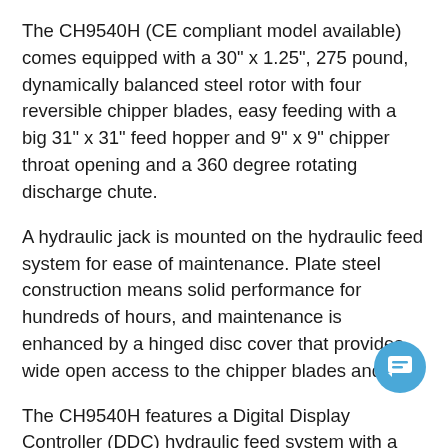The CH9540H (CE compliant model available) comes equipped with a 30" x 1.25", 275 pound, dynamically balanced steel rotor with four reversible chipper blades, easy feeding with a big 31" x 31" feed hopper and 9" x 9" chipper throat opening and a 360 degree rotating discharge chute.
A hydraulic jack is mounted on the hydraulic feed system for ease of maintenance. Plate steel construction means solid performance for hundreds of hours, and maintenance is enhanced by a hinged disc cover that provides wide open access to the chipper blades and disc.
The CH9540H features a Digital Display Controller (DDC) hydraulic feed system with a variable speed feed roller with instant reverse.
The DDC features:
Movable Digital TFT screen for easy viewing, even in bright
[Figure (other): Blue circular chat/message button icon in the bottom right area]